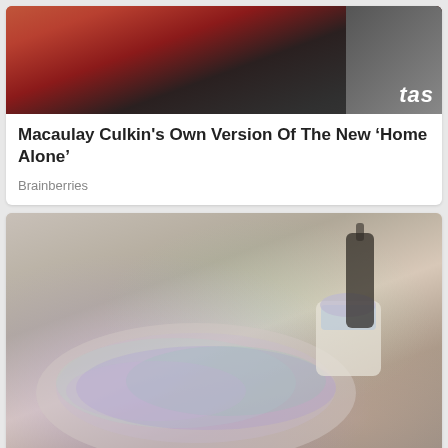[Figure (photo): Photo of a man in a red/maroon blazer over a dark shirt, with 'tas' text visible in top right corner]
Macaulay Culkin's Own Version Of The New ‘Home Alone’
Brainberries
[Figure (photo): Photo of a woman applying a glittery/iridescent product from a jar onto a leg, in a bathroom setting]
I'm Telling You, This Got Rid Of My Strawberry Legs In 3 Days
Herbeauty